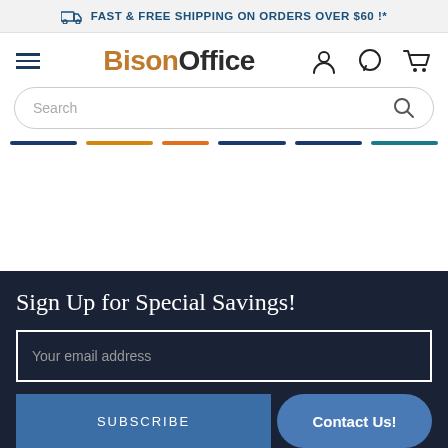FAST & FREE SHIPPING ON ORDERS OVER $60 !*
[Figure (logo): BisonOffice logo with hamburger menu, user icon, chat icon, and cart icon]
Search
[Figure (infographic): Category navigation tabs with colored underlines (dark blue, orange, orange, dark blue, dark blue, teal)]
Sign Up for Special Savings!
Your email address
SUBSCRIBE
Contact Us!